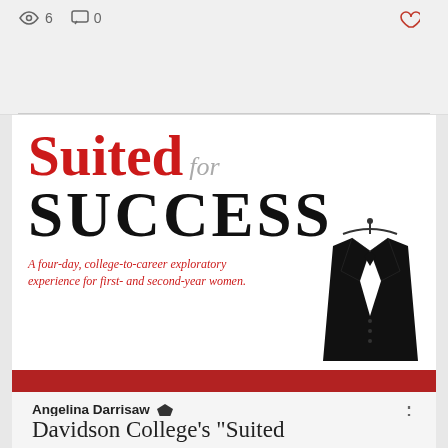[Figure (other): Social media post header with eye icon showing 6 views, comment icon showing 0 comments, and a heart/like icon]
[Figure (illustration): Suited for Success program poster: large red serif 'Suited' text, italic gray 'for', bold black 'SUCCESS' in uppercase, tagline in red italic 'A four-day, college-to-career exploratory experience for first- and second-year women.' with a black jacket on hanger illustration on the right]
Angelina Darrisaw
Mar 11, 2017 · 1 min
Davidson College's "Suited